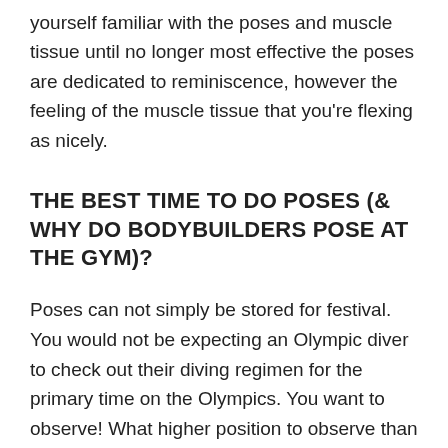yourself familiar with the poses and muscle tissue until no longer most effective the poses are dedicated to reminiscence, however the feeling of the muscle tissue that you're flexing as nicely.
THE BEST TIME TO DO POSES (& WHY DO BODYBUILDERS POSE AT THE GYM)?
Poses can not simply be stored for festival. You would not be expecting an Olympic diver to check out their diving regimen for the primary time on the Olympics. You want to observe! What higher position to observe than within the fitness center you probably have a major pump! Actually, the one logical time and position to observe posing is correct after a coaching consultation (and even